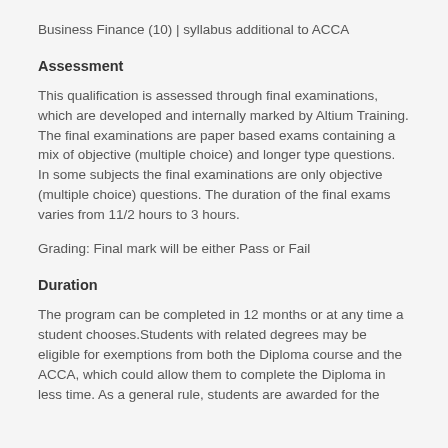Business Finance (10) | syllabus additional to ACCA
Assessment
This qualification is assessed through final examinations, which are developed and internally marked by Altium Training. The final examinations are paper based exams containing a mix of objective (multiple choice) and longer type questions. In some subjects the final examinations are only objective (multiple choice) questions. The duration of the final exams varies from 11/2 hours to 3 hours.
Grading: Final mark will be either Pass or Fail
Duration
The program can be completed in 12 months or at any time a student chooses.Students with related degrees may be eligible for exemptions from both the Diploma course and the ACCA, which could allow them to complete the Diploma in less time. As a general rule, students are awarded for the